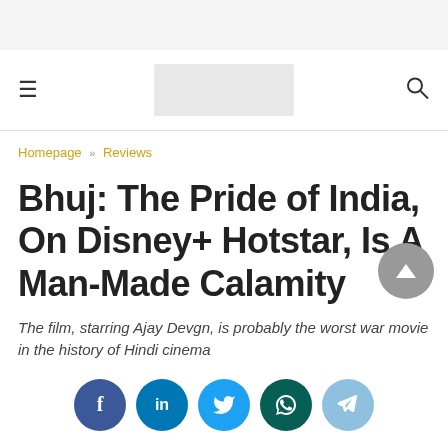≡  [logo]  🔍
Homepage » Reviews
Bhuj: The Pride of India, On Disney+ Hotstar, Is A Man-Made Calamity
The film, starring Ajay Devgn, is probably the worst war movie in the history of Hindi cinema
[Figure (infographic): Social share buttons: Facebook, LinkedIn, Twitter, WhatsApp, Telegram]